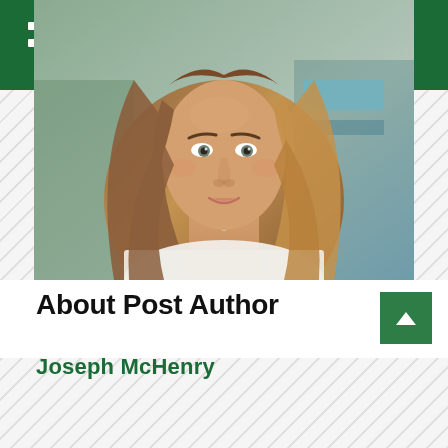[Figure (photo): Headshot photo of a woman with long auburn/brown hair, wearing a white top and necklace, with a blurred background]
About Post Author
Joseph McHenry